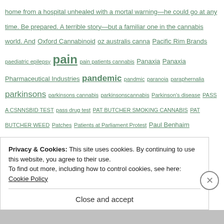home from a hospital unhealed with a mortal warning—he could go at any time. Be prepared. A terrible story—but a familiar one in the cannabis world. And Oxford Cannabinoid oz australis canna Pacific Rim Brands paediatric epilepsy pain pain patients cannabis Panaxia Panaxia Pharmaceutical Industries pandemic pandmic paranoia paraphernalia parkinsons parkinsons cannabis parkinsonscannabis Parkinson's disease PASS A CSNNSBID TEST pass drug test PAT BUTCHER SMOKING CANNABIS PAT BUTCHER WEED Patches Patients at Parliament Protest Paul Benhaim Paulette Ely pax vapes period pain Personal Peru petrochemical pets pets cannabis pets cbd pets marijuana pets thc pex17 pharmaceuticals...
Privacy & Cookies: This site uses cookies. By continuing to use this website, you agree to their use. To find out more, including how to control cookies, see here: Cookie Policy
Close and accept